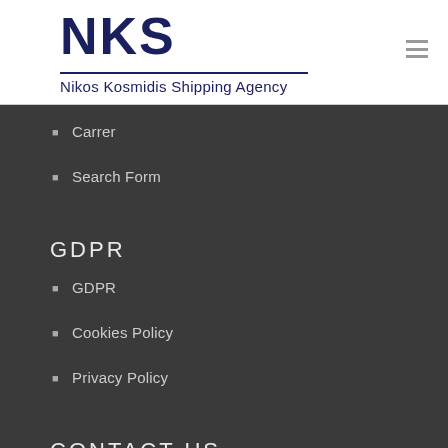[Figure (logo): NKS - Nikos Kosmidis Shipping Agency logo with bold dark navy NKS letters and tagline below]
Carrer
Search Form
GDPR
GDPR
Cookies Policy
Privacy Policy
CONTACT US
CONTACT US